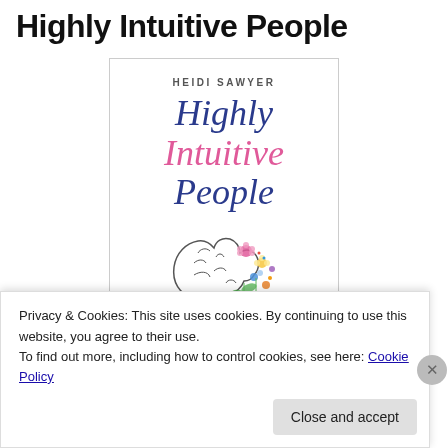Highly Intuitive People
[Figure (illustration): Book cover for 'Highly Intuitive People' by Heidi Sawyer. The cover shows the author name at the top, the book title in cursive script — 'Highly' in dark blue, 'Intuitive' in pink, 'People' in dark blue — and an illustration of a brain with colorful flowers blooming from the right side.]
Privacy & Cookies: This site uses cookies. By continuing to use this website, you agree to their use.
To find out more, including how to control cookies, see here: Cookie Policy
Close and accept